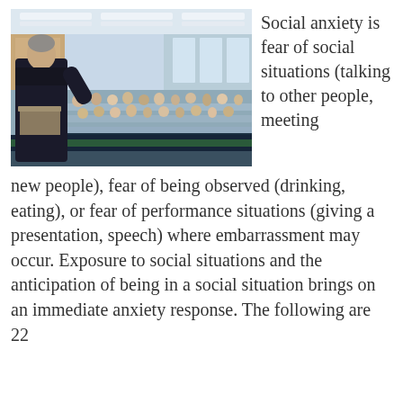[Figure (photo): A speaker standing at a podium with his back to the camera, addressing a large audience seated at long tables in a conference hall. Floral arrangements are visible at the front.]
Social anxiety is fear of social situations (talking to other people, meeting new people), fear of being observed (drinking, eating), or fear of performance situations (giving a presentation, speech) where embarrassment may occur. Exposure to social situations and the anticipation of being in a social situation brings on an immediate anxiety response. The following are 22